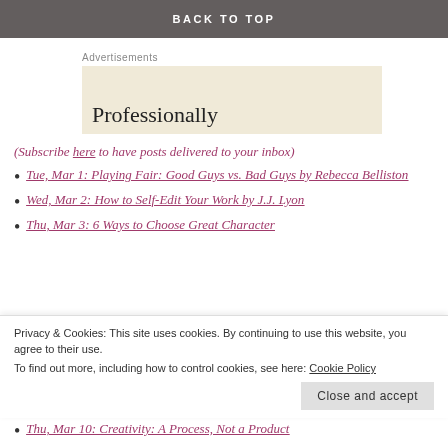BACK TO TOP
Advertisements
[Figure (other): Advertisement box with partial text 'Professionally']
(Subscribe here to have posts delivered to your inbox)
Tue, Mar 1: Playing Fair: Good Guys vs. Bad Guys by Rebecca Belliston
Wed, Mar 2: How to Self-Edit Your Work by J.J. Lyon
Thu, Mar 3: 6 Ways to Choose Great Character
Privacy & Cookies: This site uses cookies. By continuing to use this website, you agree to their use. To find out more, including how to control cookies, see here: Cookie Policy
Close and accept
Thu, Mar 10: Creativity: A Process, Not a Product